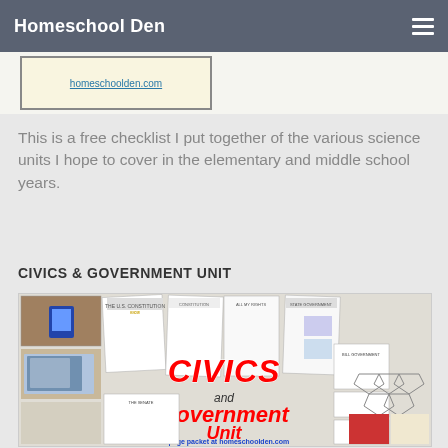Homeschool Den
[Figure (screenshot): A website image strip showing homeschoolden.com URL]
This is a free checklist I put together of the various science units I hope to cover in the elementary and middle school years.
CIVICS & GOVERNMENT UNIT
[Figure (photo): A collage image showing the Civics and Government Unit packet cover with various worksheets, featuring red text reading 'CIVICS and Government Unit' and '45 page packet at homeschoolden.com']